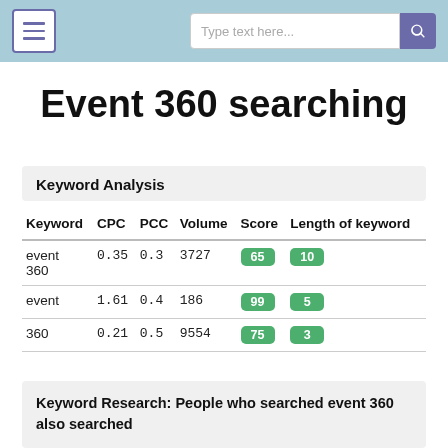[menu button] [search: Type text here...]
Event 360 searching
Keyword Analysis
| Keyword | CPC | PCC | Volume | Score | Length of keyword |
| --- | --- | --- | --- | --- | --- |
| event 360 | 0.35 | 0.3 | 3727 | 65 | 10 |
| event | 1.61 | 0.4 | 186 | 99 | 5 |
| 360 | 0.21 | 0.5 | 9554 | 75 | 3 |
Keyword Research: People who searched event 360 also searched